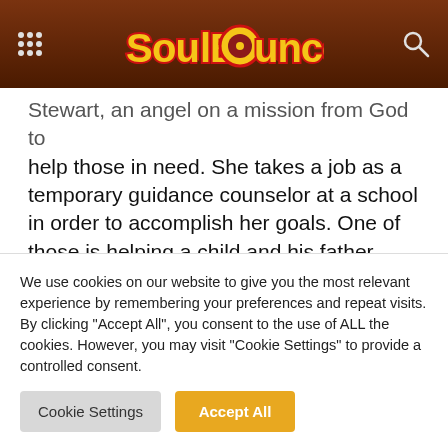[Figure (logo): SoulBounce website header with dark brown wood-grain background, grid menu icon on left, SoulBounce logo in yellow/red stylized text in center, search icon on right]
Stewart, an angel on a mission from God to help those in need. She takes a job as a temporary guidance counselor at a school in order to accomplish her goals. One of those is helping a child and his father cope with the loss of his mother. The feel-good vibes don't stop there, though, as it seems she has another objective that involves the school's principal and the community at large.
We use cookies on our website to give you the most relevant experience by remembering your preferences and repeat visits. By clicking "Accept All", you consent to the use of ALL the cookies. However, you may visit "Cookie Settings" to provide a controlled consent.